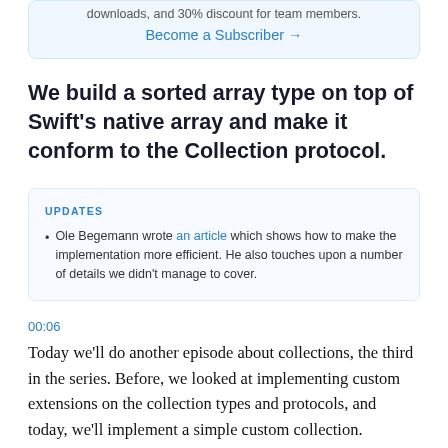downloads, and 30% discount for team members.
Become a Subscriber →
We build a sorted array type on top of Swift's native array and make it conform to the Collection protocol.
UPDATES
Ole Begemann wrote an article which shows how to make the implementation more efficient. He also touches upon a number of details we didn't manage to cover.
00:06
Today we'll do another episode about collections, the third in the series. Before, we looked at implementing custom extensions on the collection types and protocols, and today, we'll implement a simple custom collection.